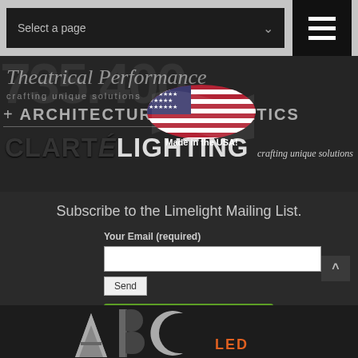Select a page
[Figure (logo): Clarte Lighting brand logo area with theatrical performance script text, architectural aesthetics, American flag, and 'Made in the USA!' tagline. crafting unique solutions tagline.]
Subscribe to the Limelight Mailing List.
Your Email (required)
[Figure (infographic): GoDaddy Verified & Secured seal with green background and lock icon. VERIFY SECURITY text below.]